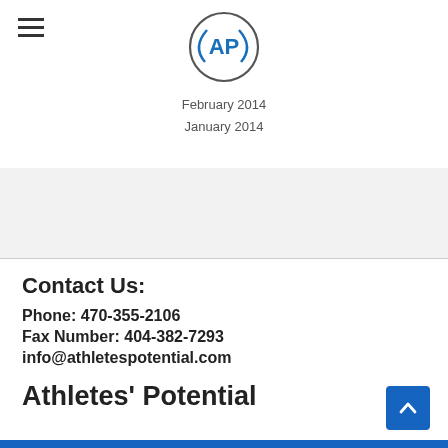[Figure (logo): Athletes Potential circular logo with AP initials in blue and gray]
February 2014
January 2014
Contact Us:
Phone: 470-355-2106
Fax Number: 404-382-7293
info@athletespotential.com
Athletes' Potential